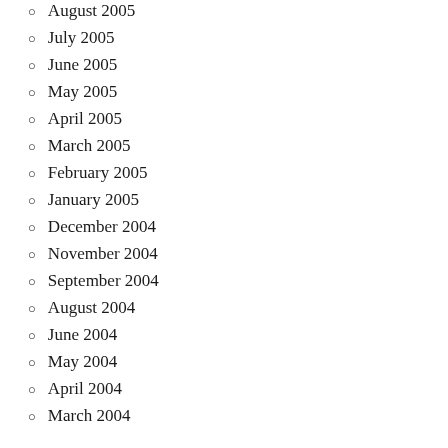August 2005
July 2005
June 2005
May 2005
April 2005
March 2005
February 2005
January 2005
December 2004
November 2004
September 2004
August 2004
June 2004
May 2004
April 2004
March 2004